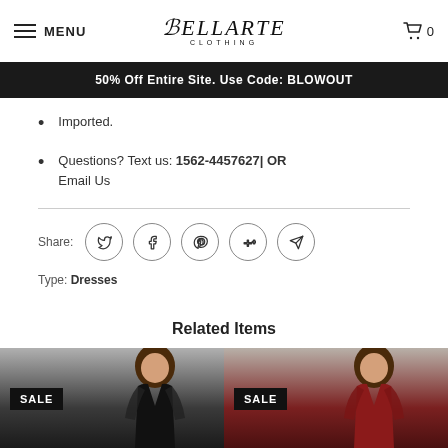MENU | Bellarte Clothing | 0
50% Off Entire Site. Use Code: BLOWOUT
Imported.
Questions? Text us: 1562-4457627| OR Email Us
Share:
Type: Dresses
Related Items
[Figure (photo): Two product cards showing dresses for sale, both labeled SALE. Left card shows a model in a black lace long-sleeve dress, right card shows a model in a red lace long-sleeve dress.]